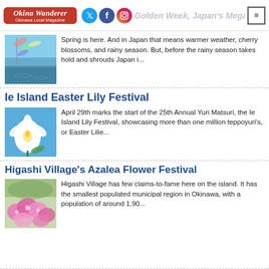Okinawa Wanderer - Okinawa Local Magazine | Golden Week, Japan's Mega Holiday
Spring is here. And in Japan that means warmer weather, cherry blossoms, and rainy season. But, before the rainy season takes hold and shrouds Japan i...
Ie Island Easter Lily Festival
April 29th marks the start of the 25th Annual Yuri Matsuri, the Ie Island Lily Festival, showcasing more than one million teppoyuri's, or Easter Lilie...
Higashi Village's Azalea Flower Festival
Higashi Village has few claims-to-fame here on the island. It has the smallest populated municipal region in Okinawa, with a population of around 1,90...